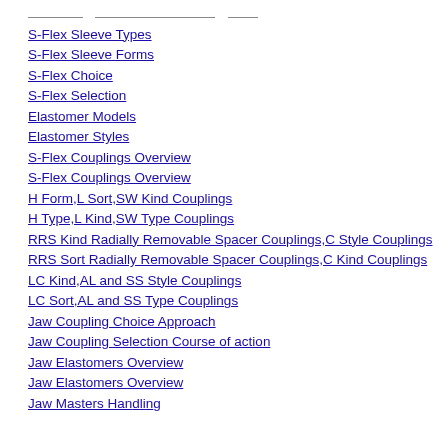S-Flex Sleeve Types
S-Flex Sleeve Forms
S-Flex Choice
S-Flex Selection
Elastomer Models
Elastomer Styles
S-Flex Couplings Overview
S-Flex Couplings Overview
H Form,L Sort,SW Kind Couplings
H Type,L Kind,SW Type Couplings
RRS Kind Radially Removable Spacer Couplings,C Style Couplings
RRS Sort Radially Removable Spacer Couplings,C Kind Couplings
LC Kind,AL and SS Style Couplings
LC Sort,AL and SS Type Couplings
Jaw Coupling Choice Approach
Jaw Coupling Selection Course of action
Jaw Elastomers Overview
Jaw Elastomers Overview
Jaw Masters Handling